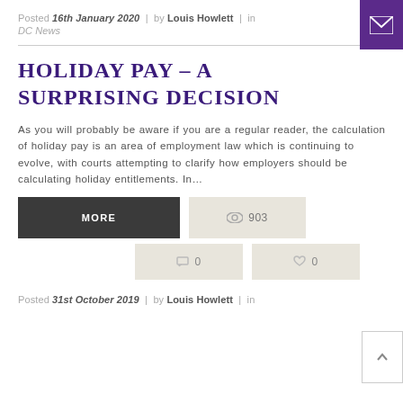Posted 16th January 2020 | by Louis Howlett | in DC News
HOLIDAY PAY – A SURPRISING DECISION
As you will probably be aware if you are a regular reader, the calculation of holiday pay is an area of employment law which is continuing to evolve, with courts attempting to clarify how employers should be calculating holiday entitlements. In…
Posted 31st October 2019 | by Louis Howlett | in